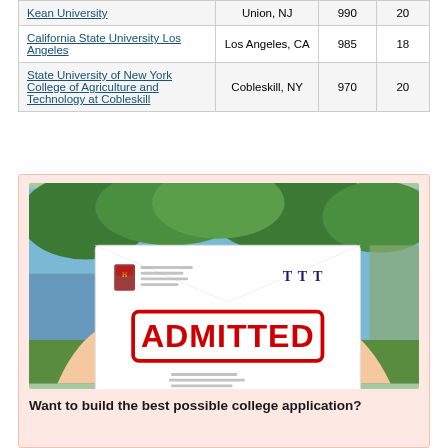|  | Location | SAT | ACT |
| --- | --- | --- | --- |
| Kean University | Union, NJ | 990 | 20 |
| California State University Los Angeles | Los Angeles, CA | 985 | 18 |
| State University of New York College of Agriculture and Technology at Cobleskill | Cobleskill, NY | 970 | 20 |
[Figure (photo): Person holding a large envelope with 'ADMITTED' stamped on it in red, with a Harvard crest visible, outdoors near a pool]
Want to build the best possible college application?